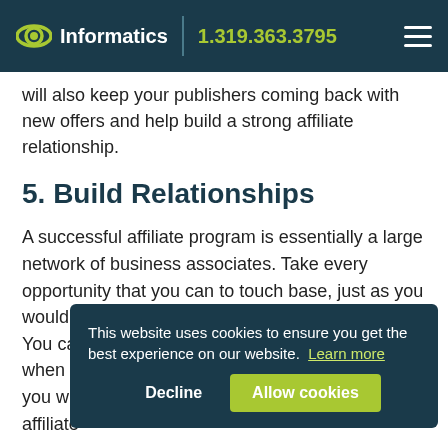Informatics | 1.319.363.3795
will also keep your publishers coming back with new offers and help build a strong affiliate relationship.
5. Build Relationships
A successful affiliate program is essentially a large network of business associates. Take every opportunity that you can to touch base, just as you would with an important offline business associate. You can rely on email for regular updates, but when you make it a point to pick up the phone, you will be rewarded with information about the affiliate
This website uses cookies to ensure you get the best experience on our website. Learn more
Decline   Allow cookies